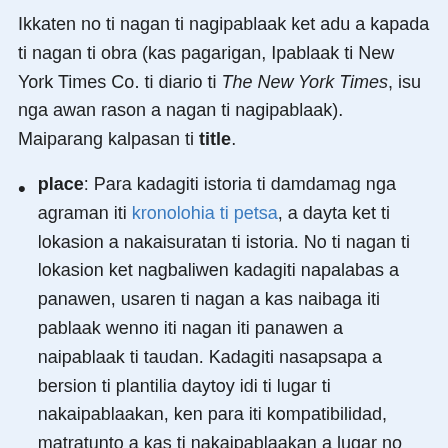Ikkaten no ti nagan ti nagipablaak ket adu a kapada ti nagan ti obra (kas pagarigan, Ipablaak ti New York Times Co. ti diario ti The New York Times, isu nga awan rason a nagan ti nagipablaak). Maiparang kalpasan ti title.
place: Para kadagiti istoria ti damdamag nga agraman iti kronolohia ti petsa, a dayta ket ti lokasion a nakaisuratan ti istoria. No ti nagan ti lokasion ket nagbaliwen kadagiti napalabas a panawen, usaren ti nagan a kas naibaga iti pablaak wenno iti nagan iti panawen a naipablaak ti taudan. Kadagiti nasapsapa a bersion ti plantilia daytoy idi ti lugar ti nakaipablaakan, ken para iti kompatibilidad, matratunto a kas ti nakaipablaakan a lugar no awan ti ti parametro ti publication-place; kitaen ti parametro para iti adu pay a pakaammo .